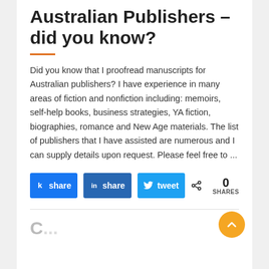Australian Publishers – did you know?
Did you know that I proofread manuscripts for Australian publishers? I have experience in many areas of fiction and nonfiction including: memoirs, self-help books, business strategies, YA fiction, biographies, romance and New Age materials. The list of publishers that I have assisted are numerous and I can supply details upon request. Please feel free to ...
[Figure (infographic): Social share buttons: Facebook (k share icon), LinkedIn (in share icon), Twitter (tweet bird icon), and a share count showing 0 SHARES with a share icon.]
Grumbill Praeferdirect